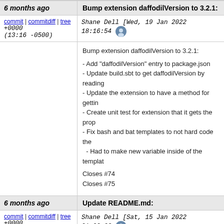6 months ago
Bump extension daffodilVersion to 3.2.1:
commit | commitdiff | tree +0000 (13:16 -0500)
Shane Dell [Wed, 19 Jan 2022 18:16:54 +0000 (13:16 -0500)]
Bump extension daffodilVersion to 3.2.1:

- Add "daffodilVersion" entry to package.json
- Update build.sbt to get daffodilVersion by reading
- Update the extension to have a method for gettin
- Create unit test for extension that it gets the prop
- Fix bash and bat templates to not hard code the
  - Had to make new variable inside of the templat

Closes #74
Closes #75
6 months ago
Update README.md:
commit | commitdiff | tree +0000 (20:00 -0500)
Shane Dell [Sat, 15 Jan 2022 01:00:03 +0000 (20:00 -0500)]
Update README.md:

- Add badges for github CI actions
- Update image for daffodil logo
7 months ago
CI and Lint Updates: